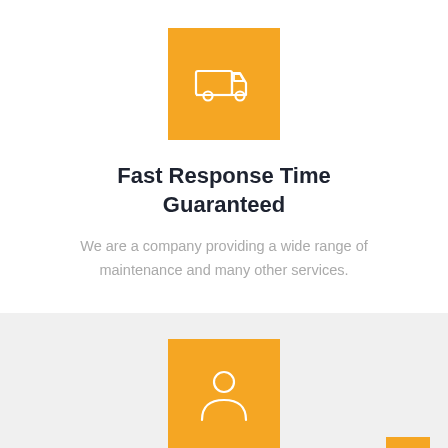[Figure (illustration): Orange square icon containing a white delivery truck outline]
Fast Response Time Guaranteed
We are a company providing a wide range of maintenance and many other services.
[Figure (illustration): Orange square icon containing a white person/user silhouette outline]
15+ Years of